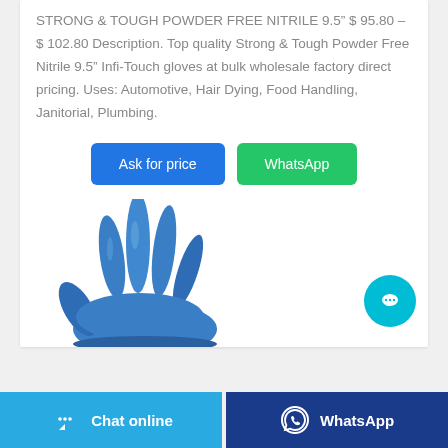STRONG & TOUGH POWDER FREE NITRILE 9.5" $ 95.80 – $ 102.80 Description. Top quality Strong & Tough Powder Free Nitrile 9.5" Infi-Touch gloves at bulk wholesale factory direct pricing. Uses: Automotive, Hair Dying, Food Handling, Janitorial, Plumbing.
[Figure (illustration): Blue nitrile glove illustration showing a hand with fingers spread, photorealistic style in blue color]
Chat online | WhatsApp